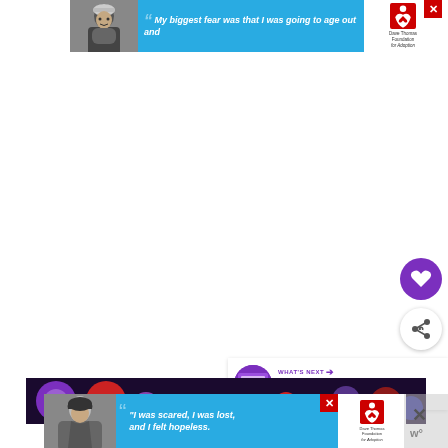[Figure (screenshot): Advertisement banner at top: blue background with black-and-white photo of person wearing beanie hat, quote text 'My biggest fear was that I was going to age out and' in white italic, Dave Thomas Foundation for Adoption logo, red X close button]
[Figure (infographic): Purple circular heart/favorite button icon on right side]
[Figure (infographic): White circular share button icon on right side]
[Figure (screenshot): What's Next panel showing purple thumbnail, label 'WHAT'S NEXT' with arrow, text 'FREE Facebook...']
[Figure (screenshot): Music app interface screenshot showing colorful circular icons on dark background, text 'Mobile Only']
[Figure (screenshot): Bottom advertisement banner: blue background, black-and-white photo of woman, quotation marks, text 'I was scared, I was lost, and I felt hopeless.' in white italic, Dave Thomas Foundation for Adoption logo, red X close button, and additional close X icon on far right]